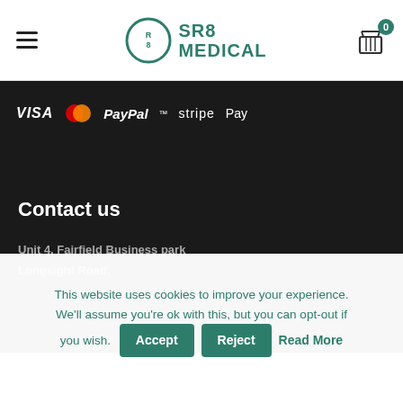SR8 Medical — navigation header with hamburger menu, logo, and basket icon with 0 items
[Figure (logo): SR8 Medical logo with circular R8 icon and text SR8 MEDICAL in teal/green color]
VISA  Mastercard  PayPal  stripe  Apple Pay — payment method logos
Contact us
Unit 4, Fairfield Business park
Longsight Road,
This website uses cookies to improve your experience. We'll assume you're ok with this, but you can opt-out if you wish.
Accept  Reject  Read More